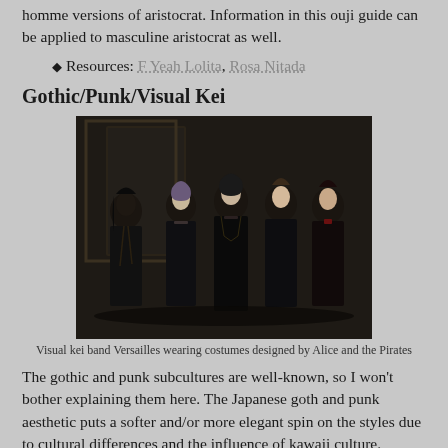homme versions of aristocrat. Information in this ouji guide can be applied to masculine aristocrat as well.
Resources: F Yeah Lolita, Rosa Nitada
Gothic/Punk/Visual Kei
[Figure (photo): Group photo of visual kei band Versailles wearing dark Gothic/Lolita costumes designed by Alice and the Pirates. Five band members dressed in elaborate black outfits standing against a dark ornate background.]
Visual kei band Versailles wearing costumes designed by Alice and the Pirates
The gothic and punk subcultures are well-known, so I won't bother explaining them here. The Japanese goth and punk aesthetic puts a softer and/or more elegant spin on the styles due to cultural differences and the influence of kawaii culture.
Resources: Gothic Charm School